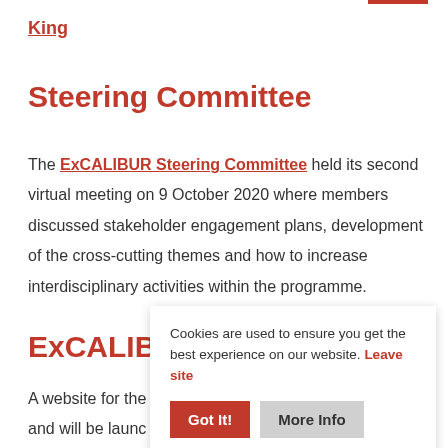King
Steering Committee
The ExCALIBUR Steering Committee held its second virtual meeting on 9 October 2020 where members discussed stakeholder engagement plans, development of the cross-cutting themes and how to increase interdisciplinary activities within the programme.
ExCALIBU
A website for the ... and will be launc...
Cookies are used to ensure you get the best experience on our website. Leave site